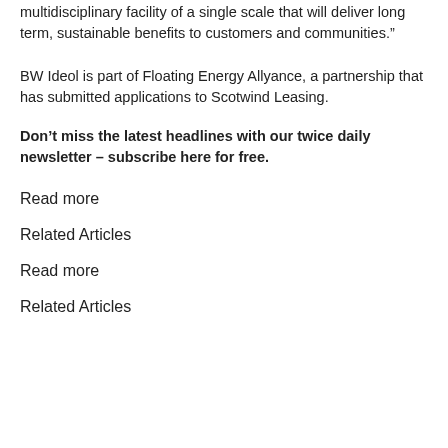multidisciplinary facility of a single scale that will deliver long term, sustainable benefits to customers and communities.”
BW Ideol is part of Floating Energy Allyance, a partnership that has submitted applications to Scotwind Leasing.
Don’t miss the latest headlines with our twice daily newsletter – subscribe here for free.
Read more
Related Articles
Read more
Related Articles